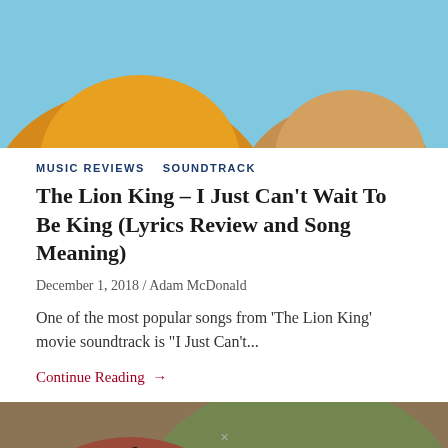[Figure (illustration): Top portion of a Lion King animated movie screenshot showing lion characters against a blue sky background]
MUSIC REVIEWS   SOUNDTRACK
The Lion King – I Just Can't Wait To Be King (Lyrics Review and Song Meaning)
December 1, 2018 / Adam McDonald
One of the most popular songs from 'The Lion King' movie soundtrack is "I Just Can't...
Continue Reading →
[Figure (illustration): Lion King animated movie screenshot showing Pumbaa the warthog and Timon the meerkat characters]